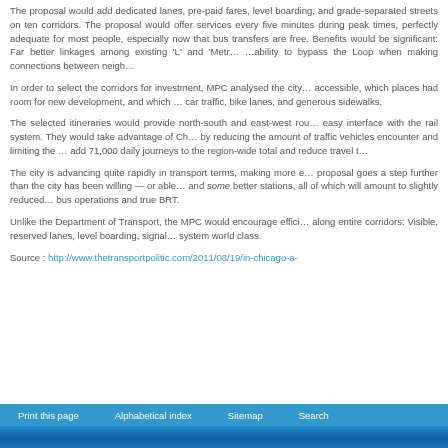The proposal would add dedicated lanes, pre-paid fares, level boarding, and grade-separated streets on ten corridors. The proposal would offer services every five minutes during peak times, perfectly adequate for most people, especially now that bus transfers are free. Benefits would be significant: Far better linkages among existing 'L' and 'Metro' rail stations, and the ability to bypass the Loop when making connections between neighbourhoods.
In order to select the corridors for investment, MPC analysed the city to see which were accessible, which places had room for new development, and which corridors could accommodate car traffic, bike lanes, and generous sidewalks.
The selected itineraries would provide north-south and east-west routes across the city, with easy interface with the rail system. They would take advantage of Chicago's grid system by reducing the amount of traffic vehicles encounter and limiting the need for transfers, and add 71,000 daily journeys to the region-wide total and reduce travel time significantly.
The city is advancing quite rapidly in transport terms, making more efforts to improve its BRT proposal goes a step further than the city has been willing — or able — to provide: Real lanes and some better stations, all of which will amount to slightly reduced operating costs for bus operations and true BRT.
Unlike the Department of Transport, the MPC would encourage efficient BRT operations along entire corridors: Visible, reserved lanes, level boarding, signal priority, to make the system world class.
Source : http://www.thetransportpolitic.com/2011/08/19/in-chicago-a-
Print this page   Alphabetical index   Sitemap   Search